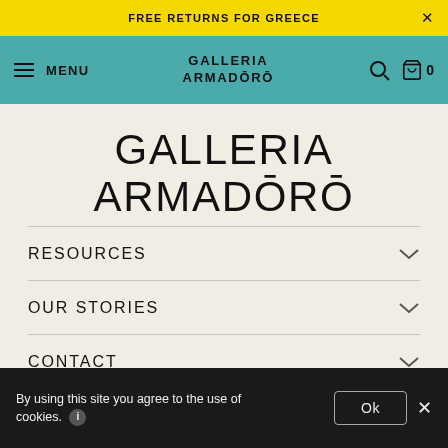FREE RETURNS FOR GREECE
[Figure (screenshot): Teal navigation bar with hamburger menu, MENU text, GALLERIA ARMADŌRŌ logo centered, search icon, and cart icon with 0 count]
GALLERIA
ARMADŌRŌ
RESOURCES
OUR STORIES
CONTACT
By using this site you agree to the use of cookies.